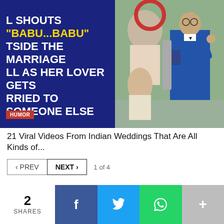[Figure (screenshot): Thumbnail image split into two halves: left side is dark navy blue with white bold uppercase text reading 'L SHOUTS "BABU...BABU" TSIDE THE MARRIAGE LL AS HER LOVER GETS RRIED TO SOMEONE ELSE' with 'BABU...BABU' in yellow, and a red HUMOR badge at bottom left; right side shows a photo of a man in a suit at what appears to be a wedding scene.]
21 Viral Videos From Indian Weddings That Are All Kinds of...
< PREV   NEXT >   1 of 4
2 SHARES
[Figure (infographic): Social share bar with Facebook (blue), Twitter (light blue), WhatsApp (green), and more (grey) buttons with icons.]